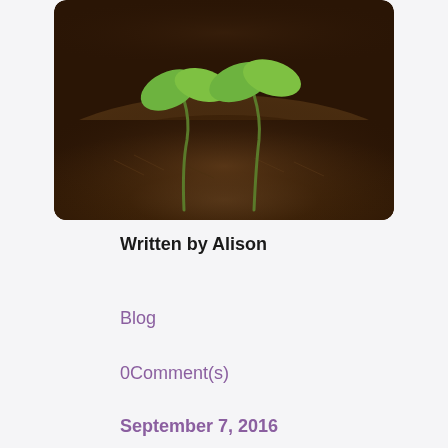[Figure (photo): Two green seedling sprouts growing from dark brown soil, close-up photography with shallow depth of field]
Written by Alison
Blog
0Comment(s)
September 7, 2016